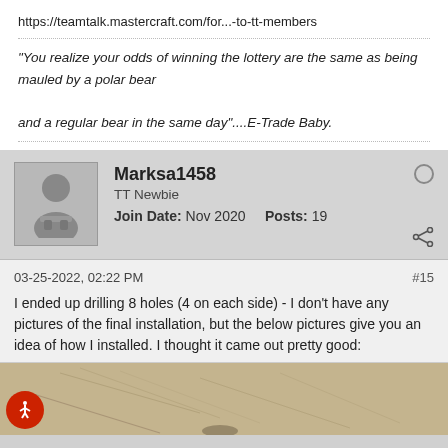https://teamtalk.mastercraft.com/for...-to-tt-members
"You realize your odds of winning the lottery are the same as being mauled by a polar bear and a regular bear in the same day"....E-Trade Baby.
Marksa1458
TT Newbie
Join Date: Nov 2020  Posts: 19
03-25-2022, 02:22 PM
#15
I ended up drilling 8 holes (4 on each side) - I don't have any pictures of the final installation, but the below pictures give you an idea of how I installed. I thought it came out pretty good:
[Figure (photo): Photo showing drilled holes installation, partially visible with tan/beige textured surface]